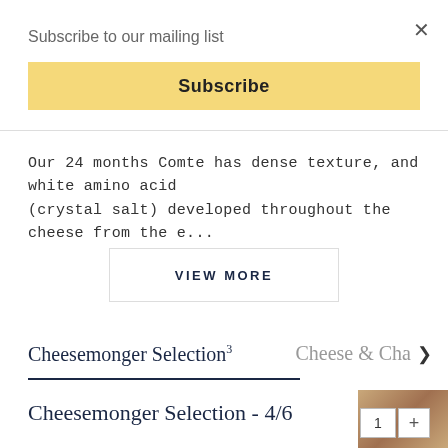Subscribe to our mailing list
×
Subscribe
Our 24 months Comte has dense texture, and white amino acid (crystal salt) developed throughout the cheese from the e...
VIEW MORE
Cheesemonger Selection³
Cheese & Cha >
Cheesemonger Selection - 4/6